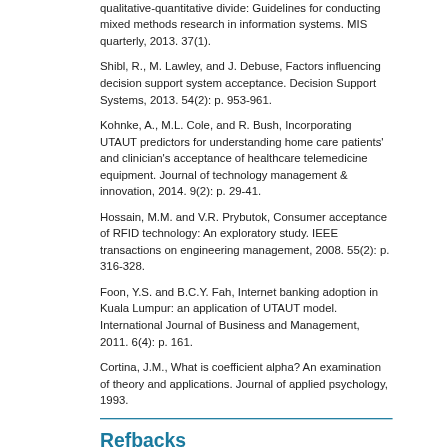qualitative-quantitative divide: Guidelines for conducting mixed methods research in information systems. MIS quarterly, 2013. 37(1).
Shibl, R., M. Lawley, and J. Debuse, Factors influencing decision support system acceptance. Decision Support Systems, 2013. 54(2): p. 953-961.
Kohnke, A., M.L. Cole, and R. Bush, Incorporating UTAUT predictors for understanding home care patients' and clinician's acceptance of healthcare telemedicine equipment. Journal of technology management & innovation, 2014. 9(2): p. 29-41.
Hossain, M.M. and V.R. Prybutok, Consumer acceptance of RFID technology: An exploratory study. IEEE transactions on engineering management, 2008. 55(2): p. 316-328.
Foon, Y.S. and B.C.Y. Fah, Internet banking adoption in Kuala Lumpur: an application of UTAUT model. International Journal of Business and Management, 2011. 6(4): p. 161.
Cortina, J.M., What is coefficient alpha? An examination of theory and applications. Journal of applied psychology, 1993.
Refbacks
There are currently no refbacks.